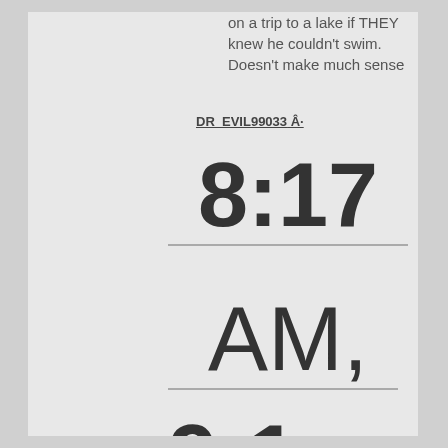on a trip to a lake if THEY knew he couldn't swim. Doesn't make much sense
DR_EVIL99033 Â·
8:17
AM,
9:1